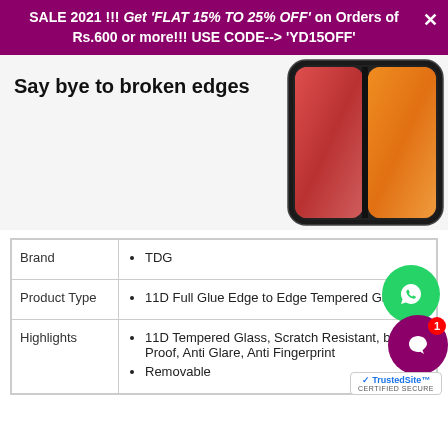SALE 2021 !!! Get 'FLAT 15% TO 25% OFF' on Orders of Rs.600 or more!!! USE CODE--> 'YD15OFF'
Say bye to broken edges
[Figure (photo): Photo of a smartphone with tempered glass screen protectors showing edge-to-edge coverage, phone has red/orange display]
| Brand | TDG |
| Product Type | 11D Full Glue Edge to Edge Tempered Glass |
| Highlights | 11D Tempered Glass, Scratch Resistant, bubble Proof, Anti Glare, Anti Fingerprint; Removable |
[Figure (other): WhatsApp contact button (green circle with phone icon)]
[Figure (other): Chat support button (purple circle with chat icon and badge showing 1 notification)]
[Figure (other): TrustedSite Certified Secure badge]